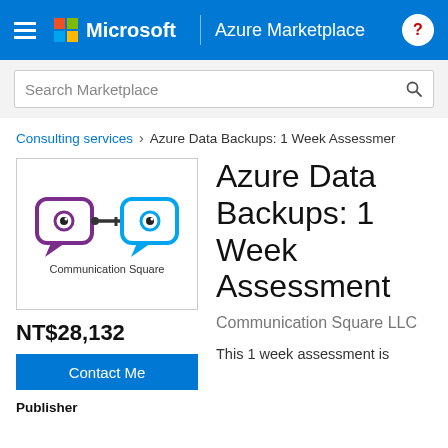Microsoft | Azure Marketplace
Search Marketplace
Consulting services > Azure Data Backups: 1 Week Assessmer
[Figure (logo): Communication Square logo — two speech bubble icons with eyes, one purple and one blue, connected by a key symbol. Text below reads 'Communication Square'.]
NT$28,132
Contact Me
Publisher
Azure Data Backups: 1 Week Assessment
Communication Square LLC
This 1 week assessment is